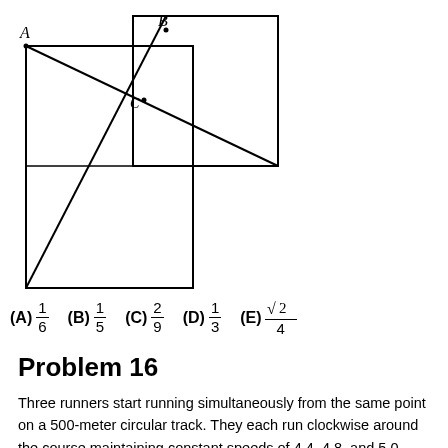[Figure (engineering-diagram): Geometric diagram with a large rectangle (bottom-left portion) and a smaller square (upper-right portion). Points A (top-left) and B (top-center-right) are labeled. Point C is labeled inside near the intersection. Lines are drawn: diagonal from A to bottom-right of small square, diagonal from B to bottom-left of large rectangle, and horizontal line across the middle.]
(A) 1/6   (B) 1/5   (C) 2/9   (D) 1/3   (E) √2/4
Problem 16
Three runners start running simultaneously from the same point on a 500-meter circular track. They each run clockwise around the course maintaining constant speeds of 4.4, 4.8, and 5.0 meters per second. The runners stop once they are all together again somewhere on the circular course. How many seconds do the runners run?